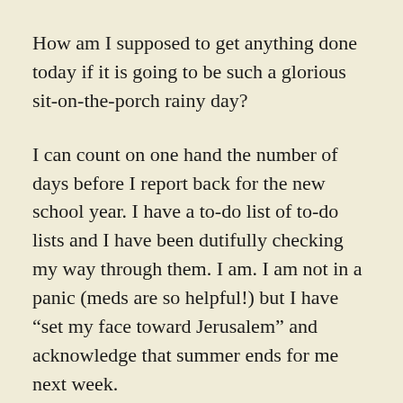How am I supposed to get anything done today if it is going to be such a glorious sit-on-the-porch rainy day?
I can count on one hand the number of days before I report back for the new school year. I have a to-do list of to-do lists and I have been dutifully checking my way through them. I am. I am not in a panic (meds are so helpful!) but I have “set my face toward Jerusalem” and acknowledge that summer ends for me next week.
Next week, there will be no more coffee hours on the porch and lengthy sessions with my